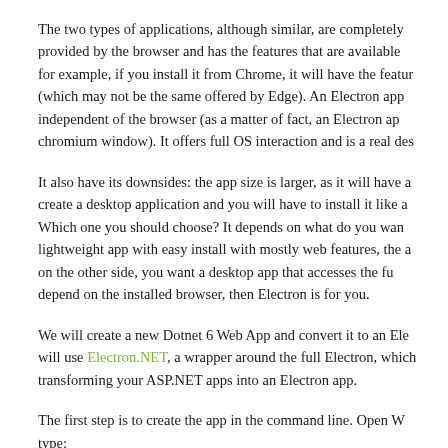The two types of applications, although similar, are completely provided by the browser and has the features that are available for example, if you install it from Chrome, it will have the featur (which may not be the same offered by Edge). An Electron app independent of the browser (as a matter of fact, an Electron ap chromium window). It offers full OS interaction and is a real des
It also have its downsides: the app size is larger, as it will have a create a desktop application and you will have to install it like a Which one you should choose? It depends on what do you wan lightweight app with easy install with mostly web features, the a on the other side, you want a desktop app that accesses the fu depend on the installed browser, then Electron is for you.
We will create a new Dotnet 6 Web App and convert it to an Ele will use Electron.NET, a wrapper around the full Electron, which transforming your ASP.NET apps into an Electron app.
The first step is to create the app in the command line. Open W type: